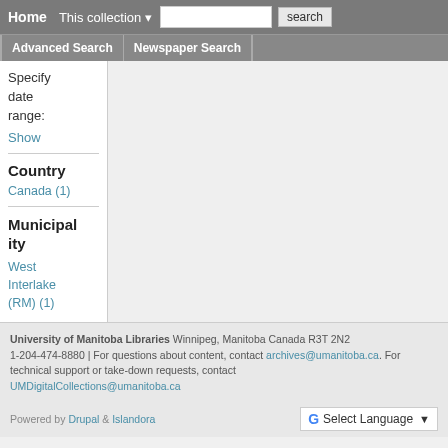Home | This collection ▾ | [search input] | search
Advanced Search | Newspaper Search
Specify date range:
Show
Country
Canada (1)
Municipality
West Interlake (RM) (1)
University of Manitoba Libraries Winnipeg, Manitoba Canada R3T 2N2 1-204-474-8880 | For questions about content, contact archives@umanitoba.ca. For technical support or take-down requests, contact UMDigitalCollections@umanitoba.ca
Powered by Drupal & Islandora | G Select Language ▾